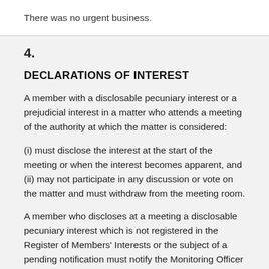There was no urgent business.
4.
DECLARATIONS OF INTEREST
A member with a disclosable pecuniary interest or a prejudicial interest in a matter who attends a meeting of the authority at which the matter is considered:
(i) must disclose the interest at the start of the meeting or when the interest becomes apparent, and
(ii) may not participate in any discussion or vote on the matter and must withdraw from the meeting room.
A member who discloses at a meeting a disclosable pecuniary interest which is not registered in the Register of Members' Interests or the subject of a pending notification must notify the Monitoring Officer of the